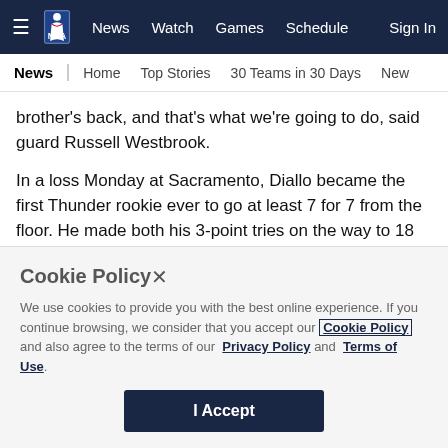NBA — News | Watch | Games | Schedule | Sign In
News | Home | Top Stories | 30 Teams in 30 Days | New
brother's back, and that's what we're going to do, said guard Russell Westbrook.
In a loss Monday at Sacramento, Diallo became the first Thunder rookie ever to go at least 7 for 7 from the floor. He made both his 3-point tries on the way to 18 points.
Cookie Policy
We use cookies to provide you with the best online experience. If you continue browsing, we consider that you accept our Cookie Policy and also agree to the terms of our Privacy Policy and Terms of Use.